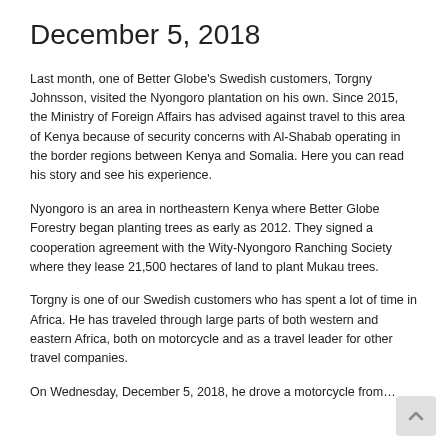December 5, 2018
Last month, one of Better Globe's Swedish customers, Torgny Johnsson, visited the Nyongoro plantation on his own. Since 2015, the Ministry of Foreign Affairs has advised against travel to this area of Kenya because of security concerns with Al-Shabab operating in the border regions between Kenya and Somalia. Here you can read his story and see his experience.
Nyongoro is an area in northeastern Kenya where Better Globe Forestry began planting trees as early as 2012. They signed a cooperation agreement with the Wity-Nyongoro Ranching Society where they lease 21,500 hectares of land to plant Mukau trees.
Torgny is one of our Swedish customers who has spent a lot of time in Africa. He has traveled through large parts of both western and eastern Africa, both on motorcycle and as a travel leader for other travel companies.
On Wednesday, December 5, 2018, he drove a motorcycle from…